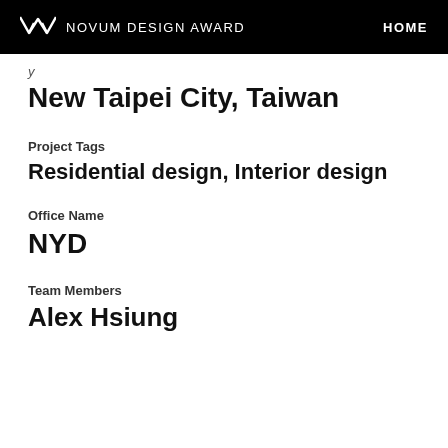NOVUM DESIGN AWARD | HOME
y
New Taipei City, Taiwan
Project Tags
Residential design, Interior design
Office Name
NYD
Team Members
Alex Hsiung